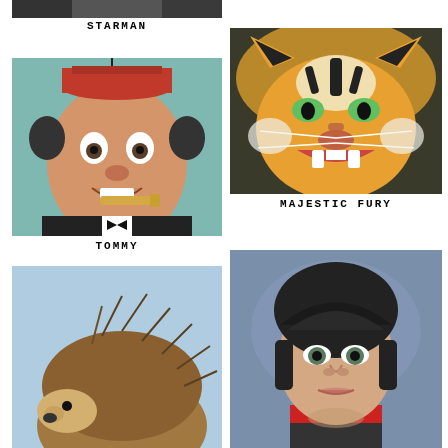[Figure (illustration): Partial image of Starman portrait at top of left column]
STARMAN
[Figure (illustration): Painting of Tommy Cooper wearing red fez hat and smoking a cigar, wide-eyed comedic expression, black suit]
TOMMY
[Figure (illustration): Partial image of a hedgehog at the bottom of the left column]
[Figure (illustration): Painting of a roaring tiger face close-up on dark background]
MAJESTIC FURY
[Figure (illustration): Portrait painting of a young dark-haired man with a red bandana, blue-grey background]